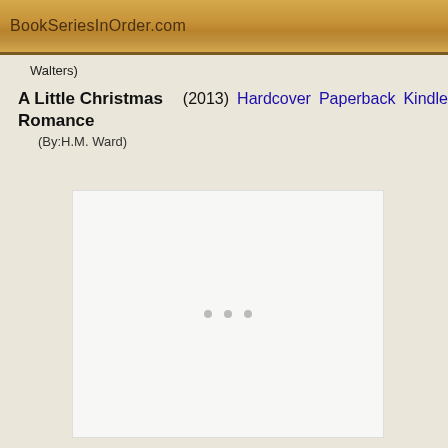BookSeriesInOrder.com
Walters)
A Little Christmas Romance
(2013) Hardcover  Paperback  Kindle
(By:H.M. Ward)
[Figure (other): Blank white book cover image placeholder with three loading dots visible]